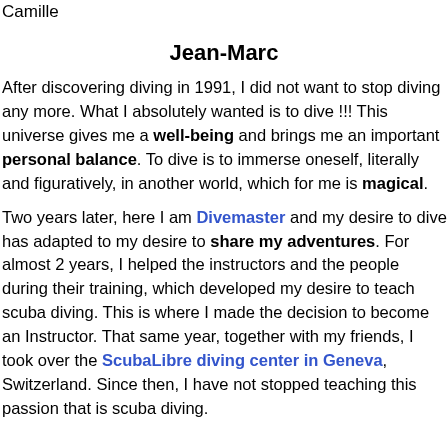Camille
Jean-Marc
After discovering diving in 1991, I did not want to stop diving any more. What I absolutely wanted is to dive !!! This universe gives me a well-being and brings me an important personal balance. To dive is to immerse oneself, literally and figuratively, in another world, which for me is magical.
Two years later, here I am Divemaster and my desire to dive has adapted to my desire to share my adventures. For almost 2 years, I helped the instructors and the people during their training, which developed my desire to teach scuba diving. This is where I made the decision to become an Instructor. That same year, together with my friends, I took over the ScubaLibre diving center in Geneva, Switzerland. Since then, I have not stopped teaching this passion that is scuba diving.